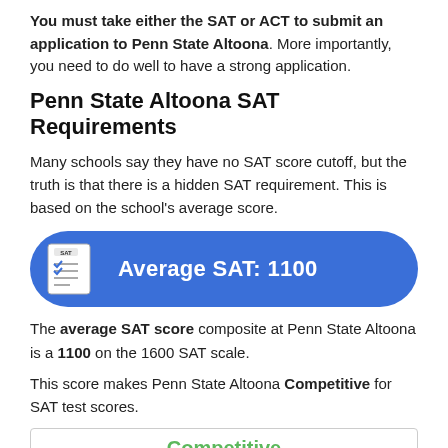You must take either the SAT or ACT to submit an application to Penn State Altoona. More importantly, you need to do well to have a strong application.
Penn State Altoona SAT Requirements
Many schools say they have no SAT score cutoff, but the truth is that there is a hidden SAT requirement. This is based on the school's average score.
[Figure (infographic): Blue rounded banner with SAT checklist icon on the left and text 'Average SAT: 1100' in white bold on a blue background.]
The average SAT score composite at Penn State Altoona is a 1100 on the 1600 SAT scale.
This score makes Penn State Altoona Competitive for SAT test scores.
Competitive